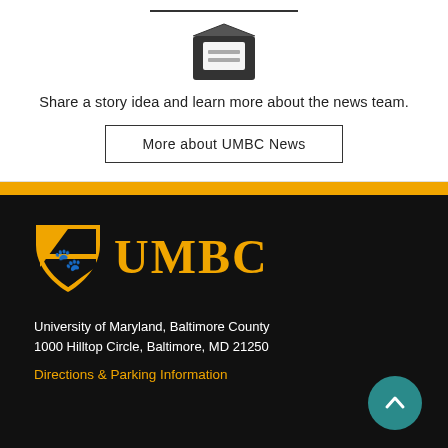[Figure (illustration): Envelope icon with a letter/message inside, dark grey color]
Share a story idea and learn more about the news team.
More about UMBC News
[Figure (logo): UMBC logo: Maryland shield crest with a retriever dog in gold and black, next to the text UMBC in large gold serif letters]
University of Maryland, Baltimore County
1000 Hilltop Circle, Baltimore, MD 21250
Directions & Parking Information